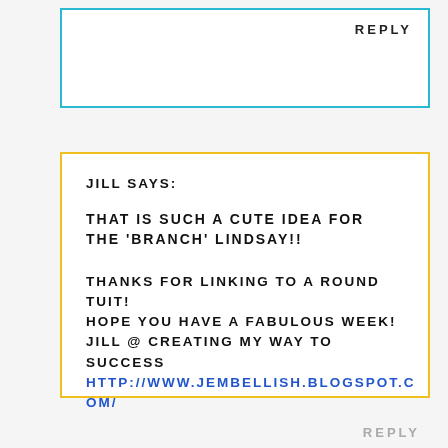REPLY
JILL SAYS:
THAT IS SUCH A CUTE IDEA FOR THE 'BRANCH' LINDSAY!!
THANKS FOR LINKING TO A ROUND TUIT! HOPE YOU HAVE A FABULOUS WEEK! JILL @ CREATING MY WAY TO SUCCESS HTTP://WWW.JEMBELLISH.BLOGSPOT.COM/
REPLY